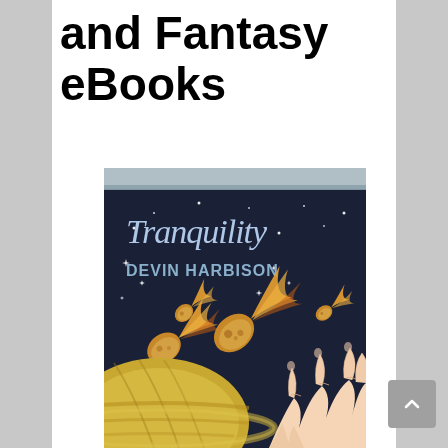and Fantasy eBooks
[Figure (illustration): Book cover for 'Tranquility' by Devin Harbison. Dark navy background with stylized script title 'Tranquility' at top, bold text 'DEVIN HARBISON' below. Multiple flaming meteors/asteroids flying across a starry space scene. A large yellow-ringed planet in the lower left. A pale human hand reaching up from the bottom right. Gray decorative band at the very top of the cover.]